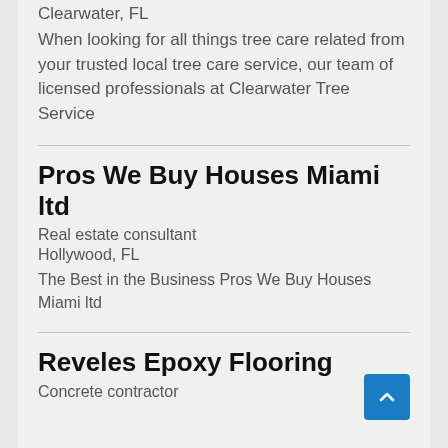Clearwater, FL
When looking for all things tree care related from your trusted local tree care service, our team of licensed professionals at Clearwater Tree Service
Pros We Buy Houses Miami ltd
Real estate consultant
Hollywood, FL
The Best in the Business Pros We Buy Houses Miami ltd
Reveles Epoxy Flooring
Concrete contractor